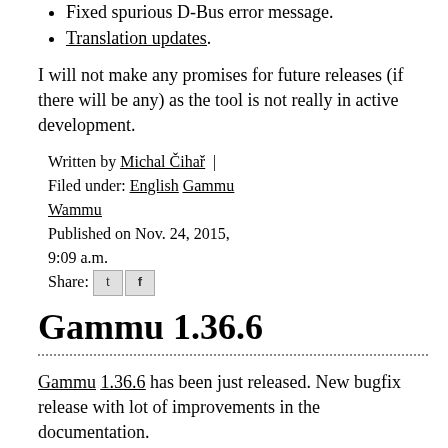Fixed spurious D-Bus error message.
Translation updates.
I will not make any promises for future releases (if there will be any) as the tool is not really in active development.
Written by Michal Čihař | Filed under: English Gammu Wammu Published on Nov. 24, 2015, 9:09 a.m. Share: [twitter] [facebook]
Gammu 1.36.6
Gammu 1.36.6 has been just released. New bugfix release with lot of improvements in the documentation.